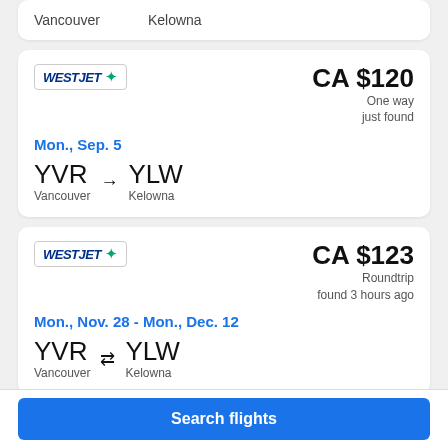Vancouver → Kelowna
[Figure (logo): WestJet airline logo]
CA $120
One way
just found
Mon., Sep. 5
YVR Vancouver → YLW Kelowna
[Figure (logo): WestJet airline logo]
CA $123
Roundtrip
found 3 hours ago
Mon., Nov. 28 - Mon., Dec. 12
YVR Vancouver ↔ YLW Kelowna
[Figure (logo): WestJet airline logo]
CA $126
One way
Search flights